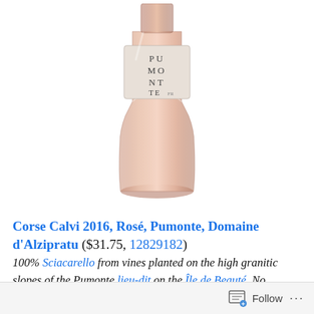[Figure (photo): Partial image of a rosé wine bottle (bottom half visible) with a label reading PU MO NT TE on a salmon/pink bottle, set against white background]
Corse Calvi 2016, Rosé, Pumonte, Domaine d'Alzipratu ($31.75, 12829182)
100% Sciacarello from vines planted on the high granitic slopes of the Pumonte lieu-dit on the Île de Beauté. No pesticides or herbicides are used. Manually harvested. Half the wine is made using the saignée method and the other half is direct-pressed. Fermented with selected indigenous yeasts in temperature-controlled stainless steel tanks. Lightly filtered before bottling. 13.5% ABV. Quebec
Follow ...